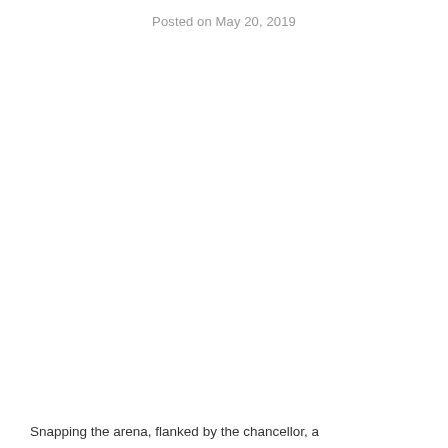Posted on May 20, 2019
Snapping the arena, flanked by the chancellor, a